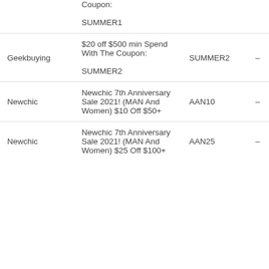| Store | Description | Code |  | Date |
| --- | --- | --- | --- | --- |
|  | Coupon: SUMMER1 |  |  |  |
| Geekbuying | $20 off $500 min Spend With The Coupon: SUMMER2 | SUMMER2 | – | 2021/8/23 |
| Newchic | Newchic 7th Anniversary Sale 2021! (MAN And Women) $10 Off $50+ | AAN10 | – | 2021/8/23 |
| Newchic | Newchic 7th Anniversary Sale 2021! (MAN And Women) $25 Off $100+ | AAN25 | – | 2021/8/23 |